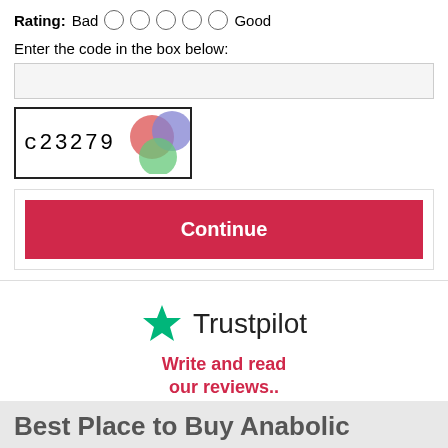Rating: Bad ○ ○ ○ ○ ○ Good
Enter the code in the box below:
[Figure (other): CAPTCHA image showing text 'c23279' with colored circle blobs (red, blue, green) on white background]
Continue
[Figure (logo): Trustpilot logo with green star and 'Trustpilot' text]
Write and read our reviews..
Best Place to Buy Anabolic